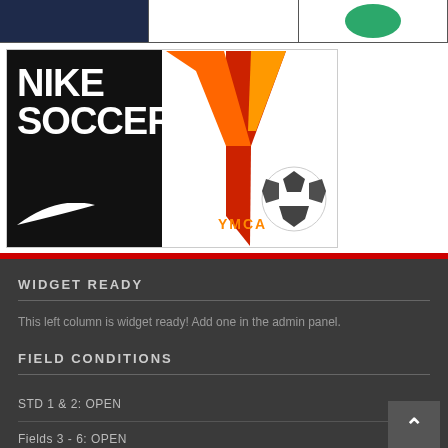[Figure (logo): Top sponsor bar with three cells: navy blue cell on left, white center cell, and green circular logo on right]
[Figure (logo): Nike Soccer logo (white text on black background with Nike swoosh) next to YMCA logo (red/orange Y shape with soccer ball)]
WIDGET READY
This left column is widget ready! Add one in the admin panel.
FIELD CONDITIONS
STD 1 & 2: OPEN
Fields 3 - 6: OPEN